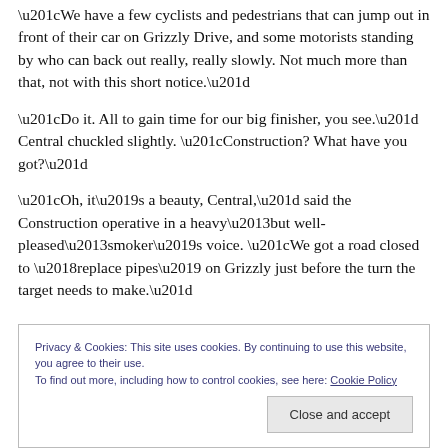“We have a few cyclists and pedestrians that can jump out in front of their car on Grizzly Drive, and some motorists standing by who can back out really, really slowly. Not much more than that, not with this short notice.”
“Do it. All to gain time for our big finisher, you see.” Central chuckled slightly. “Construction? What have you got?”
“Oh, it’s a beauty, Central,” said the Construction operative in a heavy–but well-pleased–smoker’s voice. “We got a road closed to ‘replace pipes’ on Grizzly just before the turn the target needs to make.”
Privacy & Cookies: This site uses cookies. By continuing to use this website, you agree to their use.
To find out more, including how to control cookies, see here: Cookie Policy